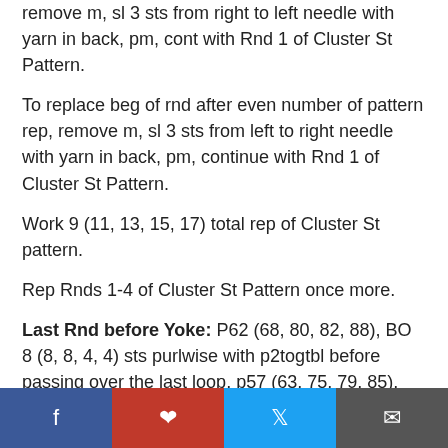remove m, sl 3 sts from right to left needle with yarn in back, pm, cont with Rnd 1 of Cluster St Pattern.
To replace beg of rnd after even number of pattern rep, remove m, sl 3 sts from left to right needle with yarn in back, pm, continue with Rnd 1 of Cluster St Pattern.
Work 9 (11, 13, 15, 17) total rep of Cluster St pattern.
Rep Rnds 1-4 of Cluster St Pattern once more.
Last Rnd before Yoke: P62 (68, 80, 82, 88), BO 8 (8, 8, 4, 4) sts purlwise with p2togtbl before passing over the last loop, p57 (63, 75, 79, 85), pm, BO 8 (8, 8, 4, 4) sts purlwise with p2togtbl before passing over the last loop, removing m in between.
Yoke